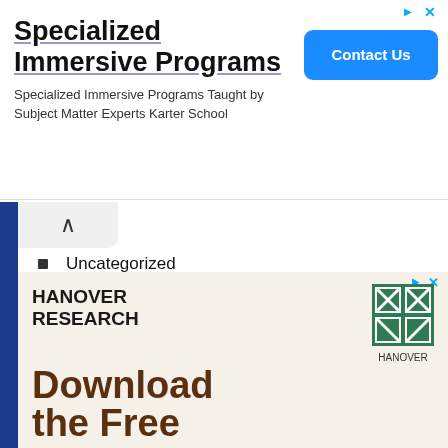[Figure (other): Advertisement banner for Specialized Immersive Programs by Karter School with Contact Us button]
Uncategorized
VIDEO
WHAT IS INTELLECTUAL OUTPUTS?
WHAT IS MULTIPLIER EVENTS?
Youth in Action
Youth KA1
[Figure (other): Advertisement for Hanover Research with logo and Download the Free text]